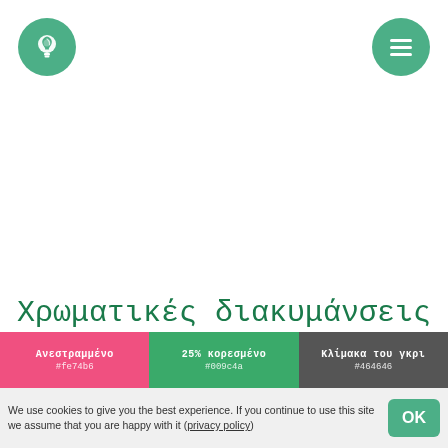[Figure (logo): Green circular button with white lightbulb icon, top-left navigation]
[Figure (logo): Green circular button with white hamburger menu icon, top-right navigation]
Χρωματικές διακυμάνσεις
[Figure (infographic): Three-section color strip: pink 'Ανεστραμμένο #fe74b6', green '25% κορεσμένο #009c4a', dark grey 'Κλίμακα του γκρι #464646']
We use cookies to give you the best experience. If you continue to use this site we assume that you are happy with it (privacy policy)